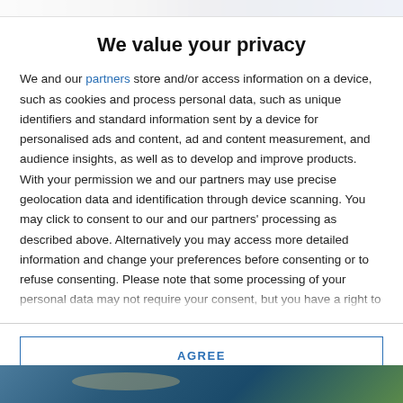[Figure (photo): Top image strip showing partially visible website header]
We value your privacy
We and our partners store and/or access information on a device, such as cookies and process personal data, such as unique identifiers and standard information sent by a device for personalised ads and content, ad and content measurement, and audience insights, as well as to develop and improve products. With your permission we and our partners may use precise geolocation data and identification through device scanning. You may click to consent to our and our partners' processing as described above. Alternatively you may access more detailed information and change your preferences before consenting or to refuse consenting. Please note that some processing of your personal data may not require your consent, but you have a right to
AGREE
MORE OPTIONS
[Figure (photo): Bottom image strip showing partially visible webpage content]